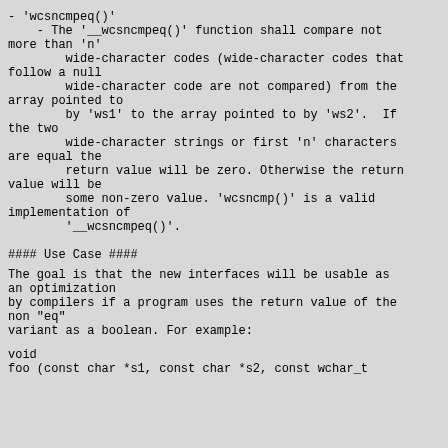- 'wcsncmpeq()'
    - The '__wcsncmpeq()' function shall compare not more than 'n'
        wide-character codes (wide-character codes that follow a null
        wide-character code are not compared) from the array pointed to
        by 'ws1' to the array pointed to by 'ws2'.  If the two
        wide-character strings or first 'n' characters are equal the
        return value will be zero. Otherwise the return value will be
        some non-zero value. 'wcsncmp()' is a valid implementation of
        '__wcsncmpeq()'.
#### Use Case ####
The goal is that the new interfaces will be usable as an optimization
by compilers if a program uses the return value of the non "eq"
variant as a boolean. For example:
void
foo (const char *s1, const char *s2, const wchar_t